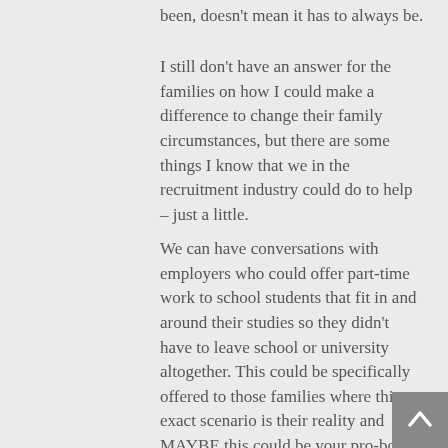been, doesn't mean it has to always be.
I still don't have an answer for the families on how I could make a difference to change their family circumstances, but there are some things I know that we in the recruitment industry could do to help – just a little.
We can have conversations with employers who could offer part-time work to school students that fit in and around their studies so they didn't have to leave school or university altogether. This could be specifically offered to those families where this exact scenario is their reality and MAYBE this could be your pro-bono work – just throwing it out there!